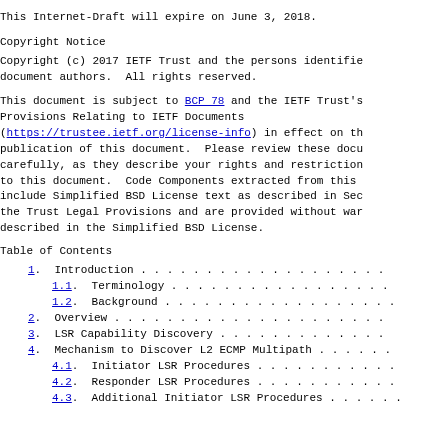This Internet-Draft will expire on June 3, 2018.
Copyright Notice
Copyright (c) 2017 IETF Trust and the persons identified as the document authors.  All rights reserved.
This document is subject to BCP 78 and the IETF Trust's Legal Provisions Relating to IETF Documents (https://trustee.ietf.org/license-info) in effect on the date of publication of this document.  Please review these documents carefully, as they describe your rights and restrictions with respect to this document.  Code Components extracted from this document must include Simplified BSD License text as described in Section 4.e of the Trust Legal Provisions and are provided without warranty as described in the Simplified BSD License.
Table of Contents
1.  Introduction . . . . . . . . . . . . . . . . . .
1.1.  Terminology . . . . . . . . . . . . . . . . .
1.2.  Background . . . . . . . . . . . . . . . . . .
2.  Overview . . . . . . . . . . . . . . . . . . . .
3.  LSR Capability Discovery . . . . . . . . . . . .
4.  Mechanism to Discover L2 ECMP Multipath . . . . .
4.1.  Initiator LSR Procedures . . . . . . . . . . .
4.2.  Responder LSR Procedures . . . . . . . . . . .
4.3.  Additional Initiator LSR Procedures . . . . . .